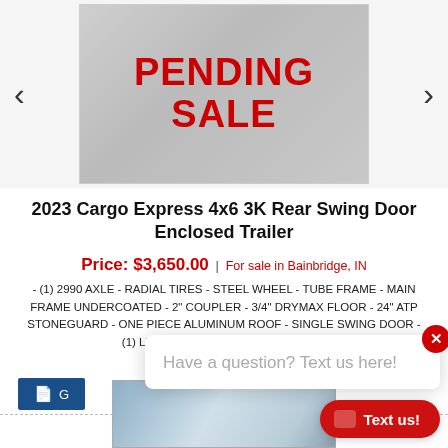[Figure (photo): Photo of enclosed trailer with PENDING SALE overlay text in red, carousel with left and right arrows]
2023 Cargo Express 4x6 3K Rear Swing Door Enclosed Trailer
Price: $3,650.00 | For sale in Bainbridge, IN
- (1) 2990 AXLE - RADIAL TIRES - STEEL WHEEL - TUBE FRAME - MAIN FRAME UNDERCOATED - 2" COUPLER - 3/4" DRYMAX FLOOR - 24" ATP STONEGUARD - ONE PIECE ALUMINUM ROOF - SINGLE SWING DOOR - (1) LED DOME LIGHT - LED LIGHTING
Stock #: CE071816
[Figure (screenshot): Chat popup overlay saying 'Have a question? Text us here!' with a red X close button]
[Figure (photo): Bottom thumbnail showing partial view of trailer at a dealership location]
Text us!